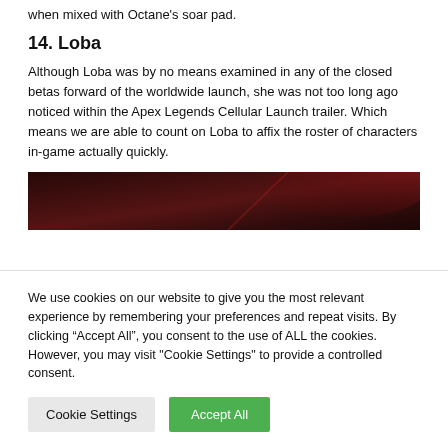when mixed with Octane's soar pad.
14. Loba
Although Loba was by no means examined in any of the closed betas forward of the worldwide launch, she was not too long ago noticed within the Apex Legends Cellular Launch trailer. Which means we are able to count on Loba to affix the roster of characters in-game actually quickly.
[Figure (photo): Screenshot from Apex Legends showing a dark scene with red lighting and a character figure]
We use cookies on our website to give you the most relevant experience by remembering your preferences and repeat visits. By clicking “Accept All”, you consent to the use of ALL the cookies. However, you may visit "Cookie Settings" to provide a controlled consent.